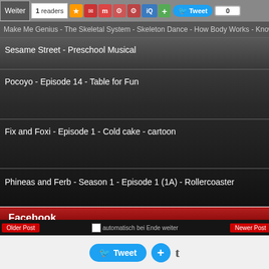Weiter | 1 readers | [toolbar icons] | Tweet | 0
Make Me Genius - The Skeletal System - Skeleton Dance - How Body Works - Know...
Sesame Street - Preschool Musical
Pocoyo - Episode 14 - Table for Fun
Fix and Foxi - Episode 1 - Cold cake - cartoon
Phineas and Ferb - Season 1 - Episode 1 (1A) - Rollercoaster
Facebook
Older Post | automatisch bei Ende weiter | Newer Post | Tweet | + | t